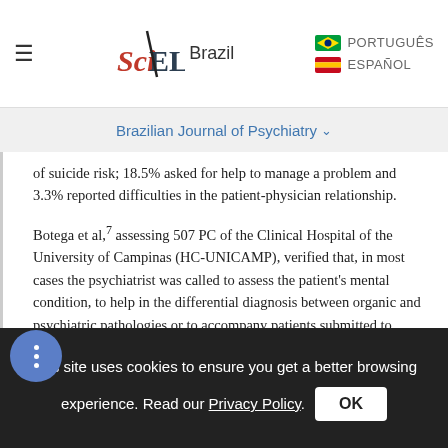SciELO Brazil — PORTUGUÊS / ESPAÑOL
Brazilian Journal of Psychiatry
of suicide risk; 18.5% asked for help to manage a problem and 3.3% reported difficulties in the patient-physician relationship.
Botega et al,7 assessing 507 PC of the Clinical Hospital of the University of Campinas (HC-UNICAMP), verified that, in most cases the psychiatrist was called to assess the patient's mental condition, to help in the differential diagnosis between organic and psychiatric pathologies or to accompany patients submitted to traumatic procedures and in 15% of the cases the
This site uses cookies to ensure you get a better browsing experience. Read our Privacy Policy.